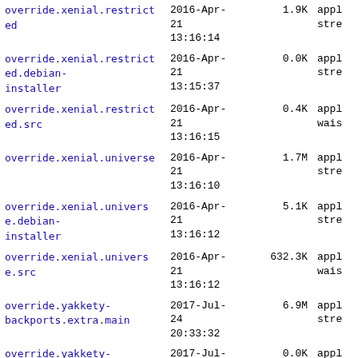| Name | Date | Size | Type |
| --- | --- | --- | --- |
| override.xenial.restricted | 2016-Apr-21 13:16:14 | 1.9K | appl stre |
| override.xenial.restricted.debian-installer | 2016-Apr-21 13:15:37 | 0.0K | appl stre |
| override.xenial.restricted.src | 2016-Apr-21 13:16:15 | 0.4K | appl wais |
| override.xenial.universe | 2016-Apr-21 13:16:10 | 1.7M | appl stre |
| override.xenial.universe.debian-installer | 2016-Apr-21 13:16:12 | 5.1K | appl stre |
| override.xenial.universe.src | 2016-Apr-21 13:16:12 | 632.3K | appl wais |
| override.yakkety-backports.extra.main | 2017-Jul-24 20:33:32 | 6.9M | appl stre |
| override.yakkety-backports.extra.multiverse | 2017-Jul-24 20:33:29 | 0.0K | appl stre |
| override.yakkety-backports.extra.restricted | 2017-Jul-24 20:33:29 | 0.0K | appl stre |
| override.yakkety-backports.extra.universe | 2017-Jul-24 20:33:31 | 6.9M | appl stre |
| override.yakkety-backports.main | 2017-Jul-24 20:33:31 | 0.4K | appl stre |